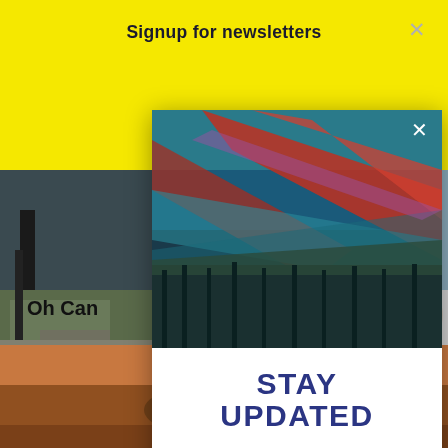Signup for newsletters
[Figure (photo): Colorful mountain landscape with red, blue, and green hues — aerial or satellite-style view]
STAY UPDATED
Yes, I'd like to receive Boulder Weekly newsletters in my inbox.
Your email
Sign Me Up
[Figure (photo): Left background: street scene with trees and road]
[Figure (photo): Right background: Canadian flag with maple leaf]
Oh Can
[Figure (photo): Bottom background: close-up of person's face/eye with brown tones]